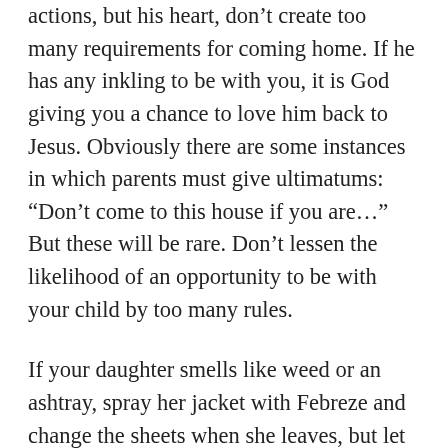actions, but his heart, don't create too many requirements for coming home. If he has any inkling to be with you, it is God giving you a chance to love him back to Jesus. Obviously there are some instances in which parents must give ultimatums: “Don’t come to this house if you are…” But these will be rare. Don’t lessen the likelihood of an opportunity to be with your child by too many rules.
If your daughter smells like weed or an ashtray, spray her jacket with Febreze and change the sheets when she leaves, but let her come home. If you find out she’s pregnant, then buy her folic acid, take her to her twenty-week ultrasound, protect her from Planned Parenthood, and by all means let her come home. If your son is broke…